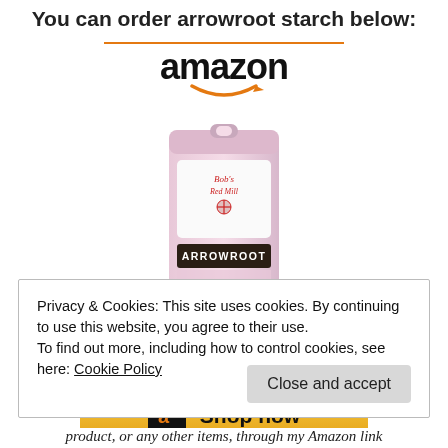You can order arrowroot starch below:
[Figure (other): Amazon product widget showing Bob's Red Mill Arrowroot starch bag, priced at $8.47 with Prime, with a 'Shop now' button]
Privacy & Cookies: This site uses cookies. By continuing to use this website, you agree to their use.
To find out more, including how to control cookies, see here: Cookie Policy
Close and accept
product, or any other items, through my Amazon link